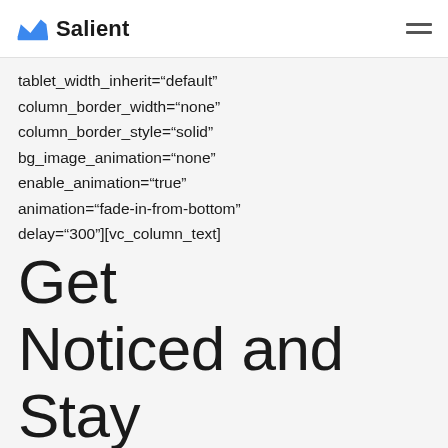Salient
tablet_width_inherit="default"
column_border_width="none"
column_border_style="solid"
bg_image_animation="none"
enable_animation="true"
animation="fade-in-from-bottom"
delay="300"][vc_column_text]
Get Noticed and Stay Remembered
[/vc_column_text][/vc_column_inner]